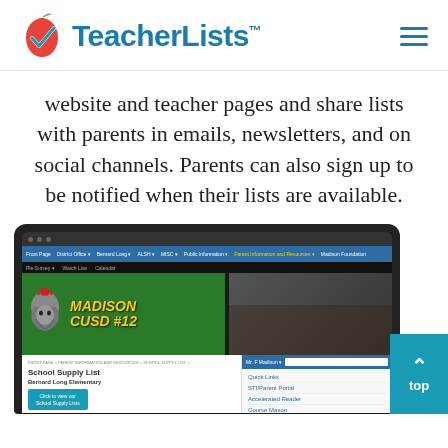[Figure (logo): TeacherLists logo with apple and checkmark icon, teal/blue text]
website and teacher pages and share lists with parents in emails, newsletters, and on social channels. Parents can also sign up to be notified when their lists are available.
[Figure (screenshot): Screenshot of Madison CUSD #12 school website showing School Supply List page for Bernard Long Elementary with a navigation bar, Spartan mascot logo, and sidebar links including Quick Links, STI/Parent Portal, Accelerated Reader, Course Mason.]